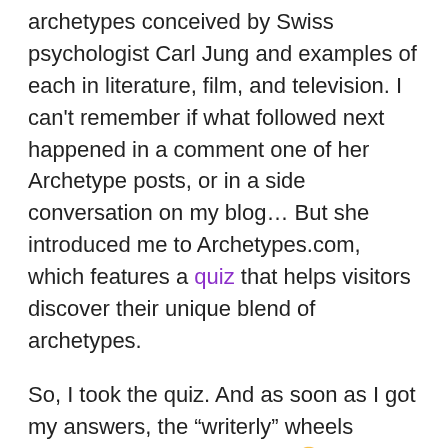archetypes conceived by Swiss psychologist Carl Jung and examples of each in literature, film, and television. I can't remember if what followed next happened in a comment one of her Archetype posts, or in a side conversation on my blog… But she introduced me to Archetypes.com, which features a quiz that helps visitors discover their unique blend of archetypes.
So, I took the quiz. And as soon as I got my answers, the “writerly” wheels started turning in my head. 😉
You see, archetypes can help us understand our own behavior patterns as well as those of our characters. It's sort of like taking an MBTI test as your protagonist to see where she might fall on that spectrum. So, how can you use archetypes to learn more (or confirm what you already know) about yourself and your